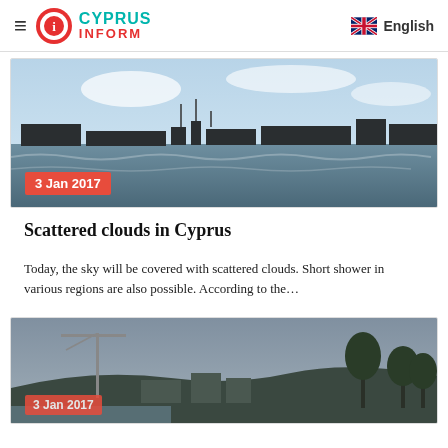Cyprus Inform — English
[Figure (photo): Coastal scene with water and city skyline silhouette, dated 3 Jan 2017]
Scattered clouds in Cyprus
Today, the sky will be covered with scattered clouds. Short shower in various regions are also possible. According to the…
[Figure (photo): City view with crane and palm trees, partially visible date badge]